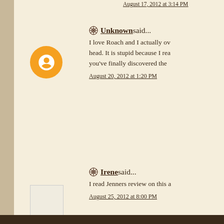August 17, 2012 at 3:14 PM
Unknown said...
I love Roach and I actually ov... head. It is stupid because I rea... you've finally discovered the...
August 20, 2012 at 1:20 PM
Irene said...
I read Jenners review on this a...
August 25, 2012 at 8:00 PM
Post a Comment
Newer Post
Subscribe to: Post Comments (Atom)